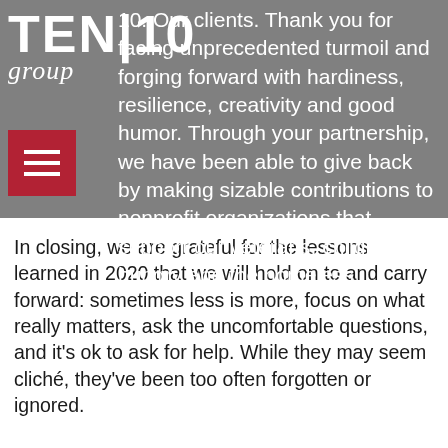[Figure (logo): TEN|10 group logo in white text on gray background, with hamburger menu button in red below]
10. Our clients. Thank you for facing unprecedented turmoil and forging forward with hardiness, resilience, creativity and good humor. Through your partnership, we have been able to give back by making sizable contributions to nonprofit organizations that support our veterans, children, the hungry and the homeless.
In closing, we are grateful for the lessons learned in 2020 that we will hold on to and carry forward: sometimes less is more, focus on what really matters, ask the uncomfortable questions, and it's ok to ask for help. While they may seem cliché, they've been too often forgotten or ignored.